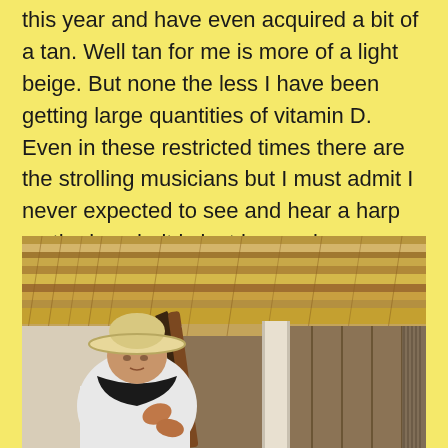this year and have even acquired a bit of a tan. Well tan for me is more of a light beige. But none the less I have been getting large quantities of vitamin D. Even in these restricted times there are the strolling musicians but I must admit I never expected to see and hear a harp on the beach, it is just heavenly.
[Figure (photo): An elderly man wearing a white shirt and wide-brimmed straw hat plays a large harp under a thatched palapa roof on the beach. A wooden pole and rustic wall are visible in the background.]